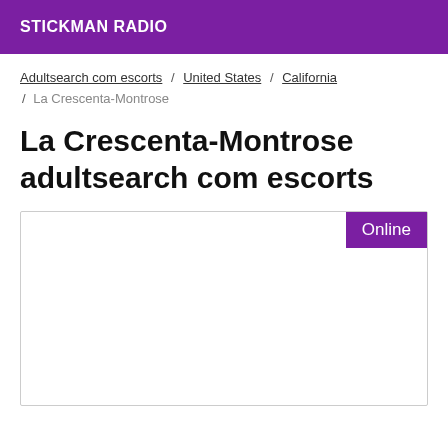STICKMAN RADIO
Adultsearch com escorts / United States / California / La Crescenta-Montrose
La Crescenta-Montrose adultsearch com escorts
[Figure (other): A listing card with an 'Online' badge in purple at the top right, and empty white content area below.]